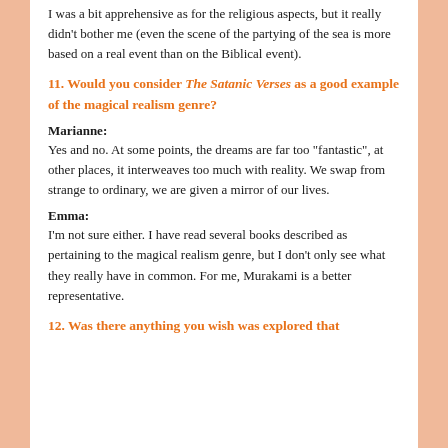I was a bit apprehensive as for the religious aspects, but it really didn't bother me (even the scene of the partying of the sea is more based on a real event than on the Biblical event).
11. Would you consider The Satanic Verses as a good example of the magical realism genre?
Marianne:
Yes and no. At some points, the dreams are far too "fantastic", at other places, it interweaves too much with reality. We swap from strange to ordinary, we are given a mirror of our lives.
Emma:
I'm not sure either. I have read several books described as pertaining to the magical realism genre, but I don't only see what they really have in common. For me, Murakami is a better representative.
12. Was there anything you wish was explored that